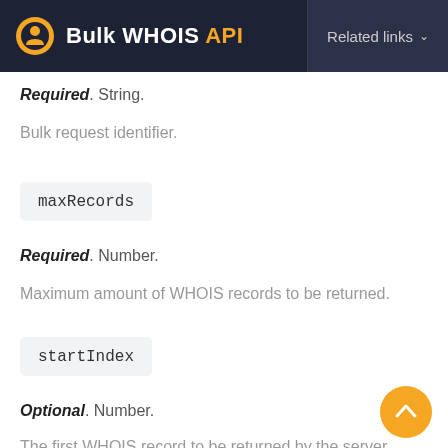Bulk WHOIS API  Related links
Required. String.
Bulk request identifier.
maxRecords
Required. Number.
Maximum amount of WHOIS records to be returned.
startIndex
Optional. Number.
The first WHOIS record to be returned by the server.
Acceptable values: 1+